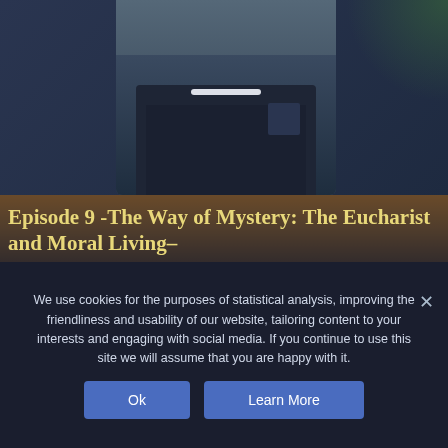[Figure (photo): Partial photo of a person in a dark navy blue polo shirt with a logo, against a background with sunset sky and clouds. The image is cropped at the chest/shoulder level.]
Episode 9 -The Way of Mystery: The Eucharist and Moral Living–
The Liturgy of the Eucharist part 1: The offertory and the priesthood…what is the role of the priest in the sacrifice of the Mass and what are some of the challenges faced by the
We use cookies for the purposes of statistical analysis, improving the friendliness and usability of our website, tailoring content to your interests and engaging with social media. If you continue to use this site we will assume that you are happy with it.